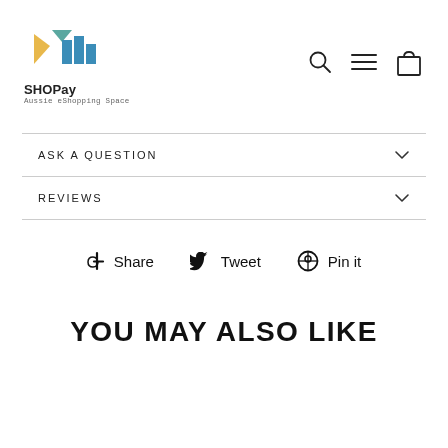[Figure (logo): SHOPay logo with colorful geometric M/bar chart shape in yellow, teal, and blue. Text below reads SHOPay and Aussie eShopping Space.]
[Figure (infographic): Navigation icons: search (magnifying glass), hamburger menu (three lines), shopping bag outline.]
ASK A QUESTION
REVIEWS
Share  Tweet  Pin it
YOU MAY ALSO LIKE